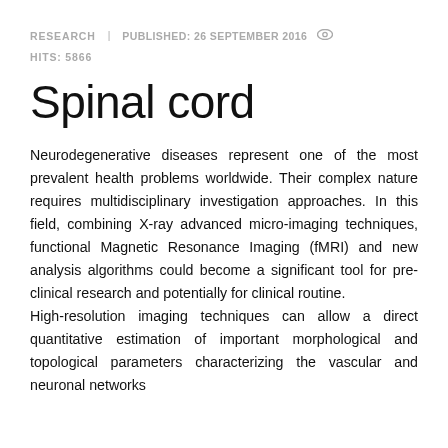RESEARCH   PUBLISHED: 26 SEPTEMBER 2016   👁   HITS: 5866
Spinal cord
Neurodegenerative diseases represent one of the most prevalent health problems worldwide. Their complex nature requires multidisciplinary investigation approaches. In this field, combining X-ray advanced micro-imaging techniques, functional Magnetic Resonance Imaging (fMRI) and new analysis algorithms could become a significant tool for pre-clinical research and potentially for clinical routine.
High-resolution imaging techniques can allow a direct quantitative estimation of important morphological and topological parameters characterizing the vascular and neuronal networks